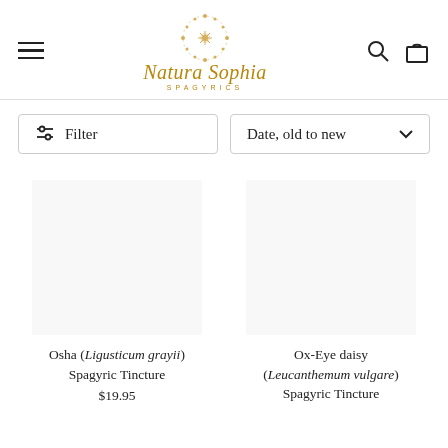Natura Sophia Spagyrics
Filter | Date, old to new
Osha (Ligusticum grayii) Spagyric Tincture $19.95
Ox-Eye daisy (Leucanthemum vulgare) Spagyric Tincture